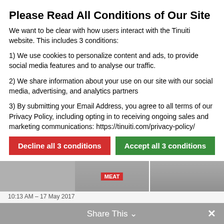Please Read All Conditions of Our Site
We want to be clear with how users interact with the Tinuiti website. This includes 3 conditions:
1) We use cookies to personalize content and ads, to provide social media features and to analyse our traffic.
2) We share information about your use on our site with our social media, advertising, and analytics partners
3) By submitting your Email Address, you agree to all terms of our Privacy Policy, including opting in to receiving ongoing sales and marketing communications: https://tinuiti.com/privacy-policy/
[Figure (screenshot): Cookie consent buttons: red 'Decline all 3 conditions' button, green 'Accept all 3 conditions' button, and 'Show details' link with chevron]
[Figure (photo): Blurred tweet images showing a street scene with a red MEAT sign, with a scroll-up arrow button]
10:13 AM – 17 May 2017
2,841 Retweets  3,334 Likes
Share This ∨